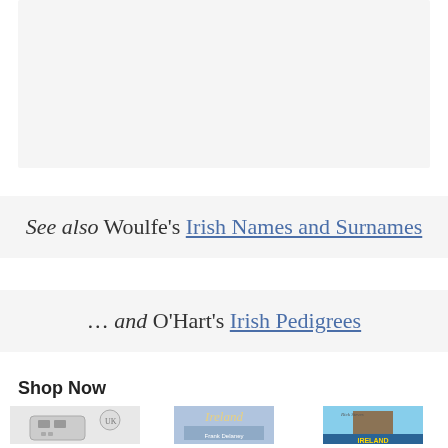[Figure (other): Gray placeholder box at top of page]
See also Woulfe's Irish Names and Surnames
… and O'Hart's Irish Pedigrees
Shop Now
[Figure (photo): UK Ireland Scotland Power Adapter Plug product image]
UK Ireland Scotland Power Adapter Plug,...
[Figure (photo): Ireland novel book cover by Frank Delaney]
Ireland
[Figure (photo): Rick Steves Ireland travel guide book cover]
Rick Steves Ireland